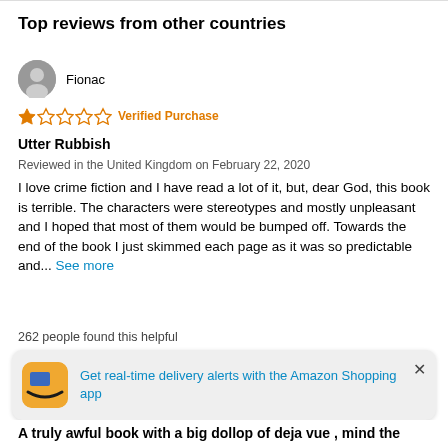Top reviews from other countries
Fionac
1 star   Verified Purchase
Utter Rubbish
Reviewed in the United Kingdom on February 22, 2020
I love crime fiction and I have read a lot of it, but, dear God, this book is terrible. The characters were stereotypes and mostly unpleasant and I hoped that most of them would be bumped off. Towards the end of the book I just skimmed each page as it was so predictable and...  See more
262 people found this helpful
Report
Get real-time delivery alerts with the Amazon Shopping app
A truly awful book with a big dollop of deja vue , mind the